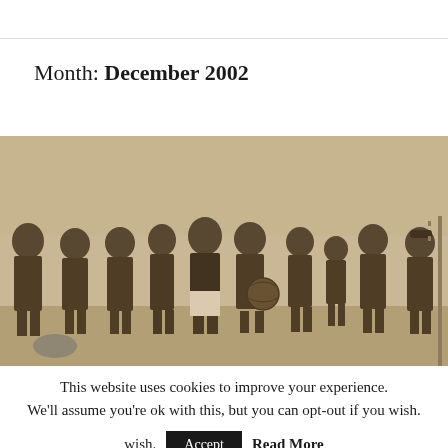Month: December 2002
[Figure (photo): Vintage sepia-toned black and white photograph of a group of approximately 13 young boys in early 20th century football/soccer kit, posing together outdoors. One boy holds a football/soccer ball. The boys are wearing dark jerseys, shorts, and boots typical of early 1900s sportswear.]
This website uses cookies to improve your experience. We'll assume you're ok with this, but you can opt-out if you wish.
Accept   Read More